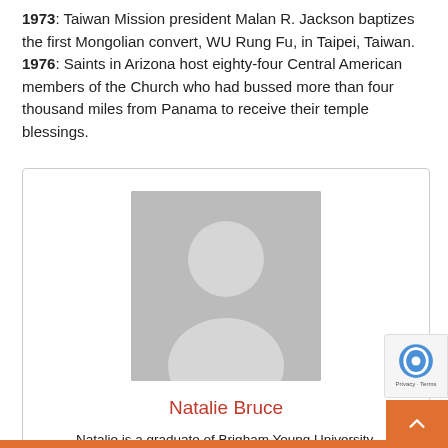1973: Taiwan Mission president Malan R. Jackson baptizes the first Mongolian convert, WU Rung Fu, in Taipei, Taiwan. 1976: Saints in Arizona host eighty-four Central American members of the Church who had bussed more than four thousand miles from Panama to receive their temple blessings.
[Figure (illustration): Generic person silhouette placeholder image on grey background]
Natalie Bruce
Natalie is a graduate of Brigham Young University.